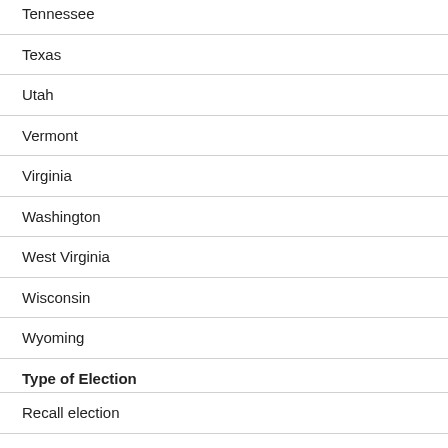Tennessee
Texas
Utah
Vermont
Virginia
Washington
West Virginia
Wisconsin
Wyoming
Type of Election
Recall election
General Election
Election Run off
Primary
Primary run off